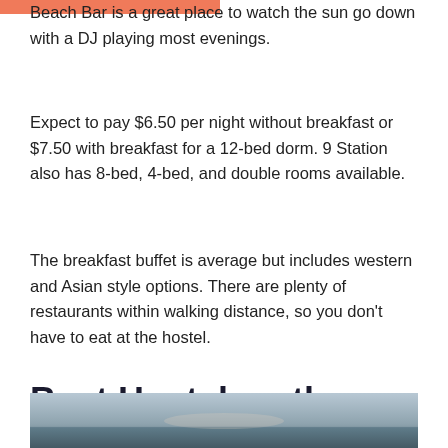Beach Bar is a great place to watch the sun go down with a DJ playing most evenings.
Expect to pay $6.50 per night without breakfast or $7.50 with breakfast for a 12-bed dorm. 9 Station also has 8-bed, 4-bed, and double rooms available.
The breakfast buffet is average but includes western and Asian style options. There are plenty of restaurants within walking distance, so you don't have to eat at the hostel.
Best Hostel on the Beach in Phu Quoc
[Figure (photo): Coastal beach scene with sky and water at dusk or dawn]